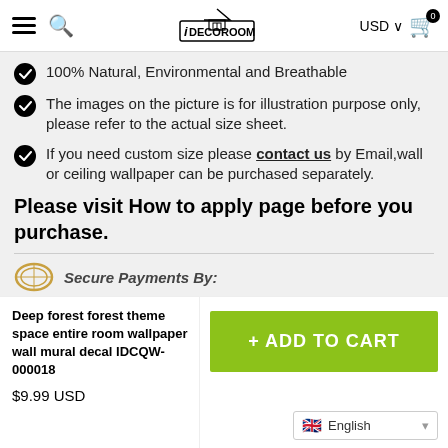iDECOROOM — USD — Cart (0)
100% Natural, Environmental and Breathable
The images on the picture is for illustration purpose only, please refer to the actual size sheet.
If you need custom size please contact us by Email,wall or ceiling wallpaper can be purchased separately.
Please visit How to apply page before you purchase.
[Figure (other): Secure Payments By: partial badge/icon]
Deep forest forest theme space entire room wallpaper wall mural decal IDCQW-000018
$9.99 USD
+ ADD TO CART
English